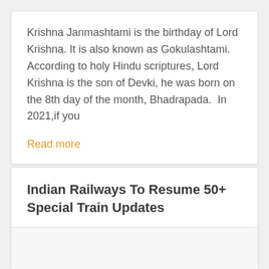Krishna Janmashtami is the birthday of Lord Krishna. It is also known as Gokulashtami. According to holy Hindu scriptures, Lord Krishna is the son of Devki, he was born on the 8th day of the month, Bhadrapada.  In 2021,if you
Read more
Indian Railways To Resume 50+ Special Train Updates